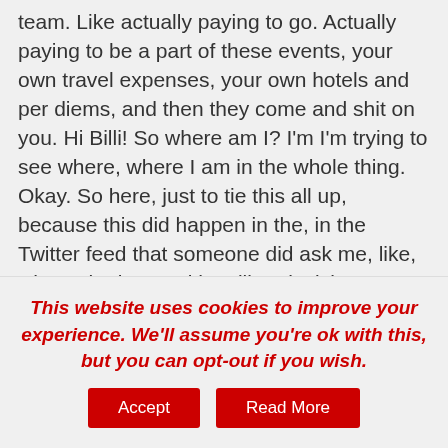team. Like actually paying to go. Actually paying to be a part of these events, your own travel expenses, your own hotels and per diems, and then they come and shit on you. Hi Billi! So where am I? I'm I'm trying to see where, where I am in the whole thing. Okay. So here, just to tie this all up, because this did happen in the, in the Twitter feed that someone did ask me, like, what's the issue with calling decisions as right or wrong.
I I've left the pitch. Stu says, admitting that I made a wrong call. And, and yeah, that is, that
This website uses cookies to improve your experience. We'll assume you're ok with this, but you can opt-out if you wish.
Accept
Read More